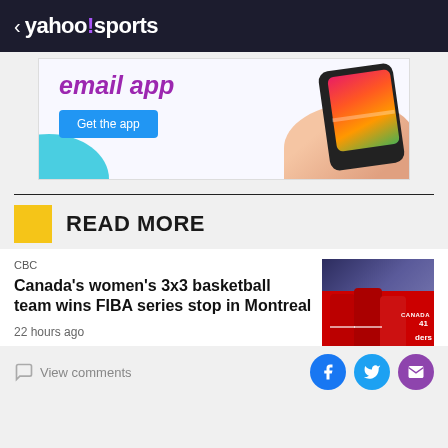< yahoo!sports
[Figure (screenshot): Advertisement banner for an email app showing purple 'email app' text, a blue 'Get the app' button, and a hand holding a smartphone]
READ MORE
CBC
Canada's women's 3x3 basketball team wins FIBA series stop in Montreal
22 hours ago
[Figure (photo): Women's basketball players in red Canada jerseys celebrating on court]
View comments